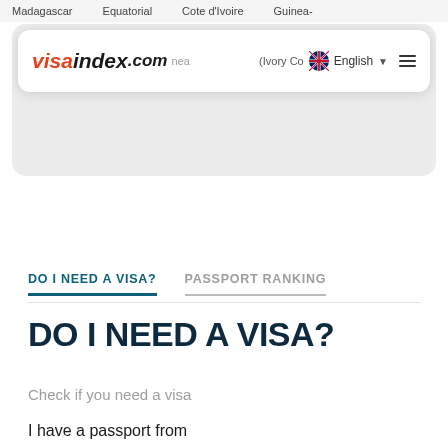Madagascar   Equatorial   Cote d'Ivoire   Guinea-
[Figure (logo): visaindex.com logo with navigation elements including English language selector and hamburger menu]
DO I NEED A VISA?    PASSPORT RANKING
DO I NEED A VISA?
Check if you need a visa
I have a passport from